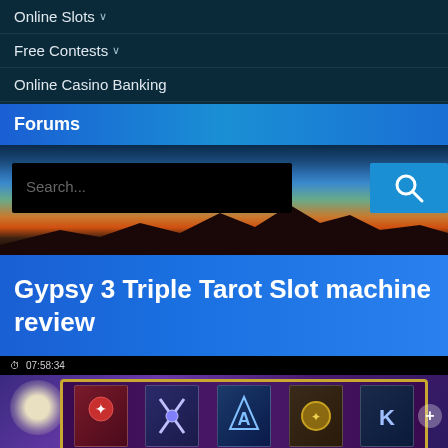Online Slots ∨
Free Contests ∨
Online Casino Banking
Forums
Search...
Gypsy 3 Triple Tarot Slot machine review
[Figure (screenshot): Video player showing a slot machine game. Topbar shows time 07:58:34. The game shows a golden-framed slot reel with various mystic tarot card symbols on a purple background. A moon glow visible on the left side.]
This website uses cookies to ensure you get the best experience on our website.  Learn more
Got it!